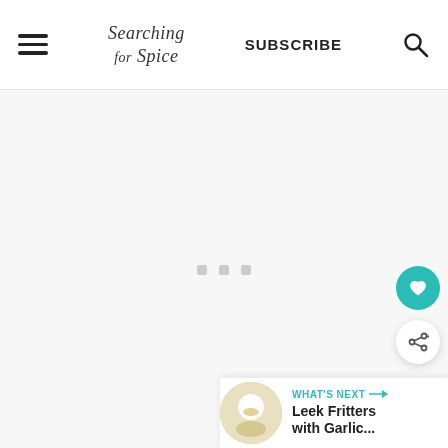Searching for Spice — SUBSCRIBE
[Figure (screenshot): Loading placeholder area with three small gray squares centered on a light gray background]
[Figure (illustration): Teal circular heart/favorite button floating on right side]
[Figure (illustration): White circular share button floating on right side]
WHAT'S NEXT → Leek Fritters with Garlic...